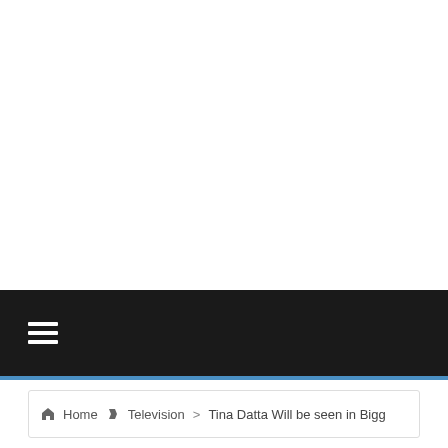Navigation menu bar with hamburger icon
Home > Television > Tina Datta Will be seen in Bigg